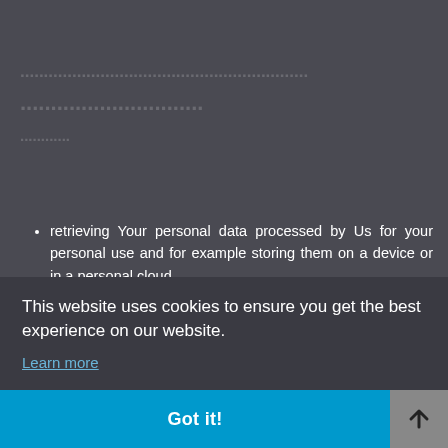[faded/obscured background text - privacy policy section]
retrieving Your personal data processed by Us for your personal use and for example storing them on a device or in a personal cloud.
Transferring Your personal data from Us to another company, either doing this Yourself or having it done
er is
This website uses cookies to ensure you get the best experience on our website.
Learn more
Got it!